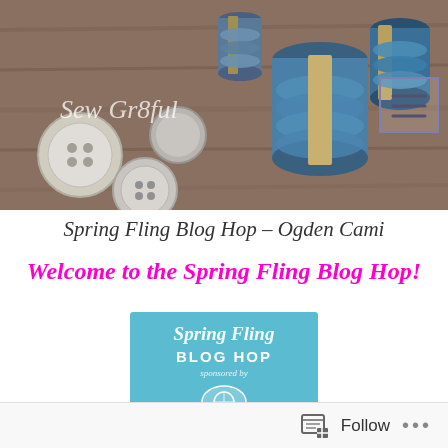[Figure (photo): Website header banner showing spools of blue thread/embroidery floss and buttons on a wooden surface, with the site logo 'Sew Gr8ful' in italic script on the left and a hamburger menu icon on the right]
Spring Fling Blog Hop – Ogden Cami
Welcome to the Spring Fling Blog Hop!
[Figure (logo): Spring Fling Blog Hop promotional badge with teal/sky background, pink flowers, a sewing machine illustration, and text reading 'Spring Fling BLOG HOP sponsored by SEW MUCH CHARM' in decorative script and bold block letters]
Follow ...